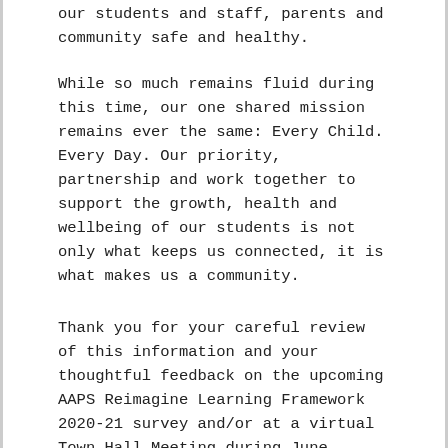our students and staff, parents and community safe and healthy.
While so much remains fluid during this time, our one shared mission remains ever the same: Every Child. Every Day. Our priority, partnership and work together to support the growth, health and wellbeing of our students is not only what keeps us connected, it is what makes us a community.
Thank you for your careful review of this information and your thoughtful feedback on the upcoming AAPS Reimagine Learning Framework 2020-21 survey and/or at a virtual Town Hall Meeting during June.
Sincerely,